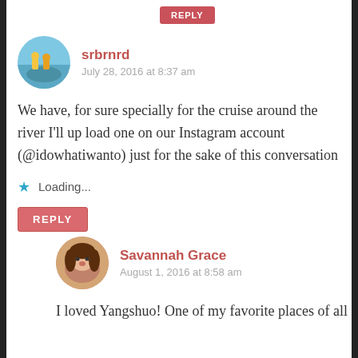[Figure (screenshot): Partial reply button at top, cropped]
srbrnrd
July 28, 2016 at 8:37 am
We have, for sure specially for the cruise around the river I'll up load one on our Instagram account (@idowhatiwanto) just for the sake of this conversation
Loading...
REPLY
Savannah Grace
August 1, 2016 at 8:58 am
I loved Yangshuo! One of my favorite places of all